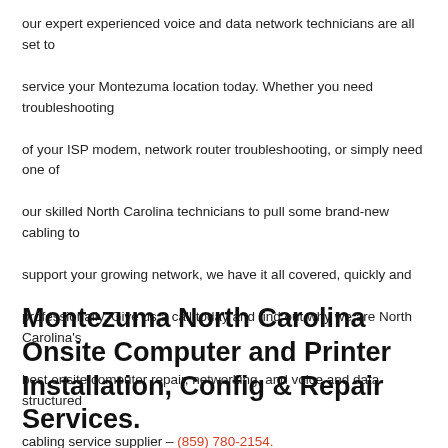our expert experienced voice and data network technicians are all set to service your Montezuma location today. Whether you need troubleshooting of your ISP modem, network router troubleshooting, or simply need one of our skilled North Carolina technicians to pull some brand-new cabling to support your growing network, we have it all covered, quickly and professionally. Give us a call today and find out why we are North Carolina's best onsite computer repair, networking, and voice and data structured cabling service supplier – (859) 780-2154.
Montezuma North Carolina Onsite Computer and Printer Installation, Config & Repair Services.